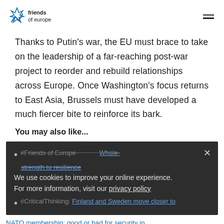friends of europe
Thanks to Putin’s war, the EU must brace to take on the leadership of a far-reaching post-war project to reorder and rebuild relationships across Europe. Once Washington’s focus returns to East Asia, Brussels must have developed a much fiercer bite to reinforce its bark.
You may also like...
[Figure (screenshot): Dark overlay cookie consent popup with close X button and two partially visible bullet-point list items, plus cookie notice text with privacy policy link]
NATO membership: good or bad for security in